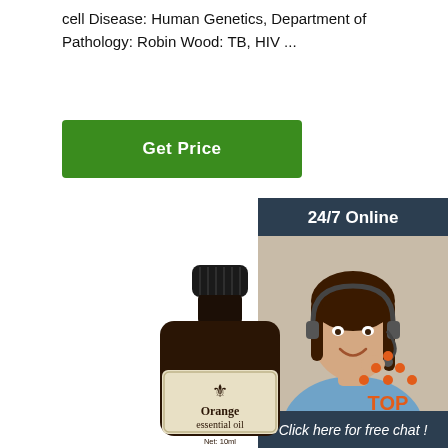cell Disease: Human Genetics, Department of Pathology: Robin Wood: TB, HIV ...
[Figure (other): Green 'Get Price' button]
[Figure (other): 24/7 Online chat sidebar with customer service representative photo, 'Click here for free chat!' text, and orange QUOTATION button]
[Figure (photo): Orange essential oil bottle, 10ml, with fleur-de-lis label design]
[Figure (other): Orange dots triangle with 'TOP' text below in orange]